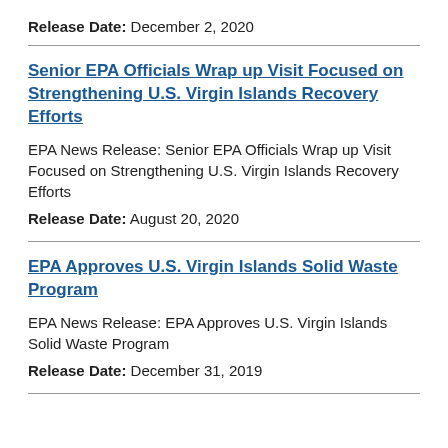Release Date: December 2, 2020
Senior EPA Officials Wrap up Visit Focused on Strengthening U.S. Virgin Islands Recovery Efforts
EPA News Release: Senior EPA Officials Wrap up Visit Focused on Strengthening U.S. Virgin Islands Recovery Efforts
Release Date: August 20, 2020
EPA Approves U.S. Virgin Islands Solid Waste Program
EPA News Release: EPA Approves U.S. Virgin Islands Solid Waste Program
Release Date: December 31, 2019